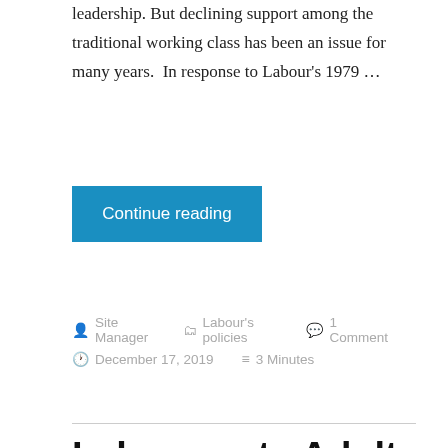leadership. But declining support among the traditional working class has been an issue for many years.  In response to Labour's 1979 …
Continue reading
Site Manager   Labour's policies   1 Comment   December 17, 2019   3 Minutes
Labour puts Adult learning back on the agenda